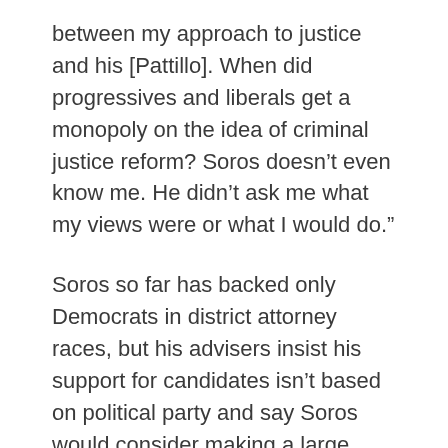between my approach to justice and his [Pattillo]. When did progressives and liberals get a monopoly on the idea of criminal justice reform? Soros doesn’t even know me. He didn’t ask me what my views were or what I would do.”
Soros so far has backed only Democrats in district attorney races, but his advisers insist his support for candidates isn’t based on political party and say Soros would consider making a large contribution to a “reform-minded” Republican prosecutor.